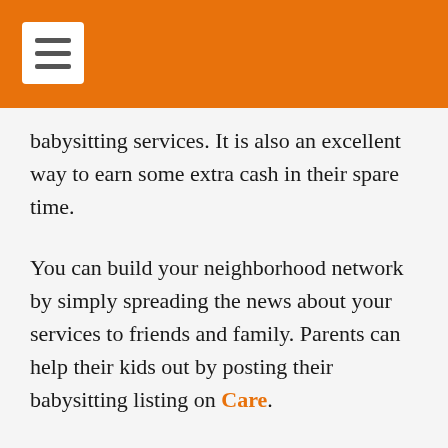babysitting services. It is also an excellent way to earn some extra cash in their spare time.
You can build your neighborhood network by simply spreading the news about your services to friends and family. Parents can help their kids out by posting their babysitting listing on Care.
15. Sell flowers
If you have a green thumb and enjoy being around the garden, earning money by selling flowers can teach you how to make money from